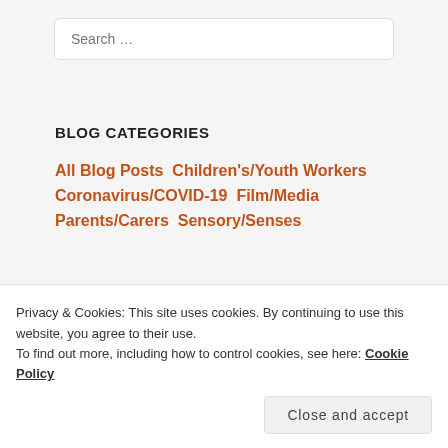[Figure (screenshot): Search input box with placeholder text 'Search ...']
BLOG CATEGORIES
All Blog Posts  Children's/Youth Workers  Coronavirus/COVID-19  Film/Media  Parents/Carers  Sensory/Senses
Privacy & Cookies: This site uses cookies. By continuing to use this website, you agree to their use.
To find out more, including how to control cookies, see here: Cookie Policy
Close and accept